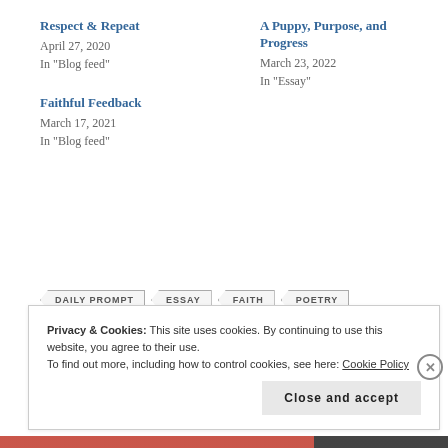Respect & Repeat
April 27, 2020
In "Blog feed"
A Puppy, Purpose, and Progress
March 23, 2022
In "Essay"
Faithful Feedback
March 17, 2021
In "Blog feed"
DAILY PROMPT
ESSAY
FAITH
POETRY
PROSE
WRITERS LIFE
WRITING
Privacy & Cookies: This site uses cookies. By continuing to use this website, you agree to their use.
To find out more, including how to control cookies, see here: Cookie Policy
Close and accept